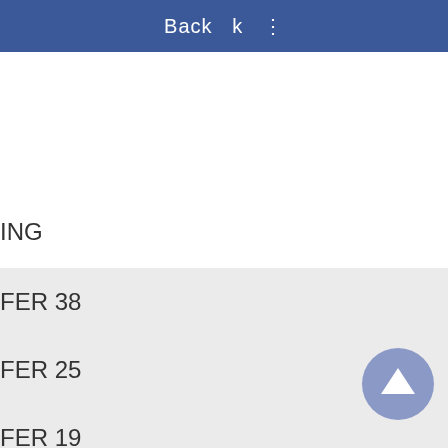Back
E1 TOP ation
ING
FER 38
FER 25
FER 19
BLE SIDED
[Figure (screenshot): Scroll-to-top circular button with upward chevron arrow, bluish-gray color]